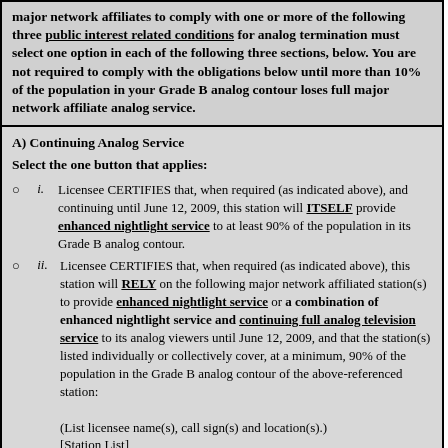major network affiliates to comply with one or more of the following three public interest related conditions for analog termination must select one option in each of the following three sections, below. You are not required to comply with the obligations below until more than 10% of the population in your Grade B analog contour loses full major network affiliate analog service.
A) Continuing Analog Service
Select the one button that applies:
i. Licensee CERTIFIES that, when required (as indicated above), and continuing until June 12, 2009, this station will ITSELF provide enhanced nightlight service to at least 90% of the population in its Grade B analog contour.
ii. Licensee CERTIFIES that, when required (as indicated above), this station will RELY on the following major network affiliated station(s) to provide enhanced nightlight service or a combination of enhanced nightlight service and continuing full analog television service to its analog viewers until June 12, 2009, and that the station(s) listed individually or collectively cover, at a minimum, 90% of the population in the Grade B analog contour of the above-referenced station:
(List licensee name(s), call sign(s) and location(s).)
[Station List]
B) Consumer Referral Telephone Number(s)